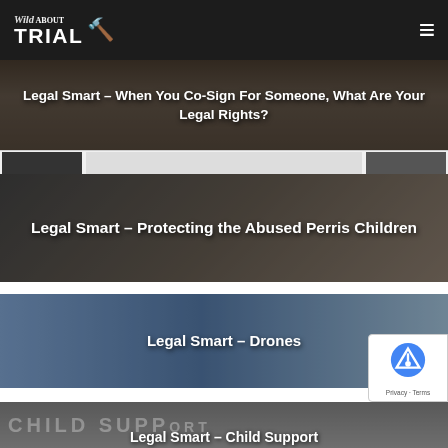Wild About Trial
[Figure (screenshot): Article card with dark background showing courtroom scene. Title: Legal Smart – When You Co-Sign For Someone, What Are Your Legal Rights?]
[Figure (screenshot): Article card with dark background showing person (Louise Turpin). Title: Legal Smart – Protecting the Abused Perris Children]
[Figure (screenshot): Article card with blue-grey background showing a drone. Title: Legal Smart – Drones]
[Figure (screenshot): Partial article card showing child support sign. Title: Legal Smart – Child Support (partial)]